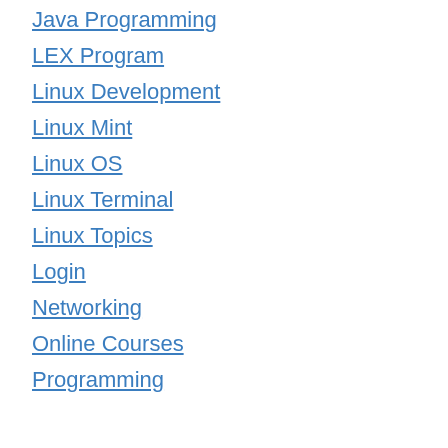Java Programming
LEX Program
Linux Development
Linux Mint
Linux OS
Linux Terminal
Linux Topics
Login
Networking
Online Courses
Programming